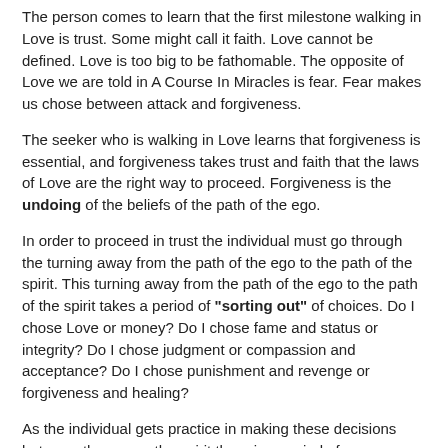The person comes to learn that the first milestone walking in Love is trust. Some might call it faith. Love cannot be defined. Love is too big to be fathomable. The opposite of Love we are told in A Course In Miracles is fear. Fear makes us chose between attack and forgiveness.
The seeker who is walking in Love learns that forgiveness is essential, and forgiveness takes trust and faith that the laws of Love are the right way to proceed. Forgiveness is the undoing of the beliefs of the path of the ego.
In order to proceed in trust the individual must go through the turning away from the path of the ego to the path of the spirit. This turning away from the path of the ego to the path of the spirit takes a period of "sorting out" of choices. Do I chose Love or money? Do I chose fame and status or integrity? Do I chose judgment or compassion and acceptance? Do I chose punishment and revenge or forgiveness and healing?
As the individual gets practice in making these decisions between the ego or the spirit there is a period of